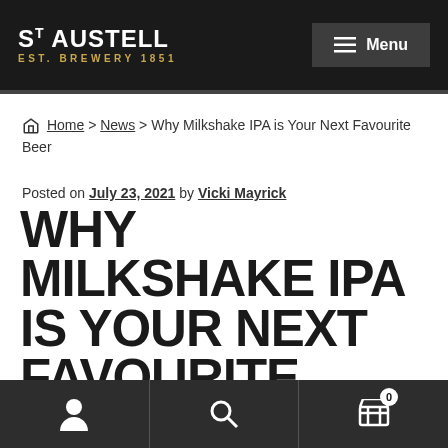ST AUSTELL EST. BREWERY 1851 | Menu
Home > News > Why Milkshake IPA is Your Next Favourite Beer
Posted on July 23, 2021 by Vicki Mayrick
WHY MILKSHAKE IPA IS YOUR NEXT FAVOURITE BEER
User icon | Search icon | Cart (0)